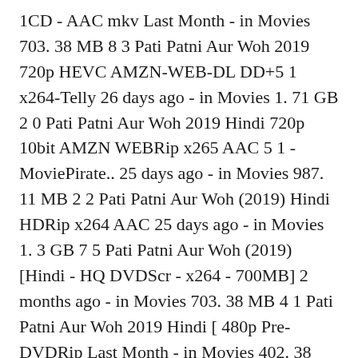1CD - AAC mkv Last Month - in Movies 703. 38 MB 8 3 Pati Patni Aur Woh 2019 720p HEVC AMZN-WEB-DL DD+5 1 x264-Telly 26 days ago - in Movies 1. 71 GB 2 0 Pati Patni Aur Woh 2019 Hindi 720p 10bit AMZN WEBRip x265 AAC 5 1 - MoviePirate.. 25 days ago - in Movies 987. 11 MB 2 2 Pati Patni Aur Woh (2019) Hindi HDRip x264 AAC 25 days ago - in Movies 1. 3 GB 7 5 Pati Patni Aur Woh (2019) [Hindi - HQ DVDScr - x264 - 700MB] 2 months ago - in Movies 703. 38 MB 4 1 Pati Patni Aur Woh 2019 Hindi [ 480p Pre-DVDRip Last Month - in Movies 402. 38 MB 4 0 Previous page 1 2 3 Next page.
Pati patni aur woh download full hindi. 1:30 3:28 4:49 Thank me later. Movie gonna hit only for